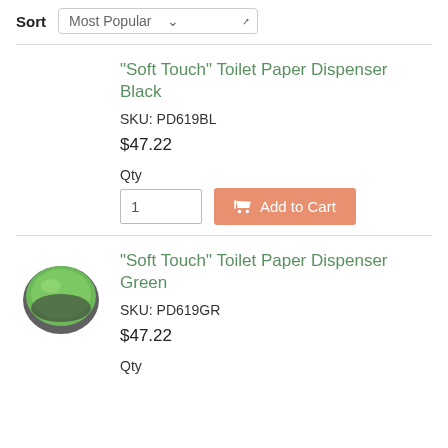Sort  Most Popular
"Soft Touch" Toilet Paper Dispenser Black
SKU: PD619BL
$47.22
Qty
Add to Cart
[Figure (photo): Green toilet paper dispenser product photo]
"Soft Touch" Toilet Paper Dispenser Green
SKU: PD619GR
$47.22
Qty